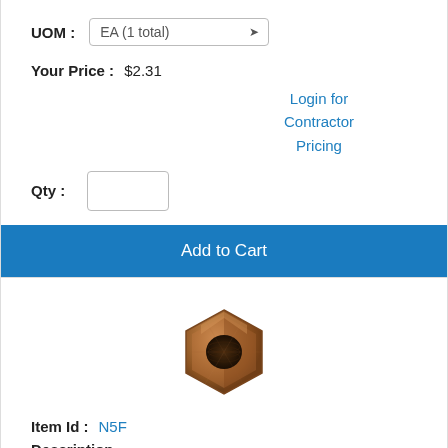UOM : EA (1 total)
Your Price : $2.31
Login for Contractor Pricing
Qty :
Add to Cart
[Figure (photo): A bronze/copper hex flare nut fitting, photographed against white background]
Item Id : N5F
Description